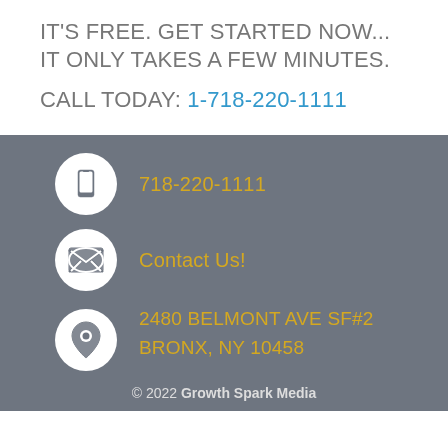IT'S FREE. GET STARTED NOW... IT ONLY TAKES A FEW MINUTES.
CALL TODAY: 1-718-220-1111
718-220-1111
Contact Us!
2480 BELMONT AVE SF#2 BRONX, NY 10458
© 2022 Growth Spark Media